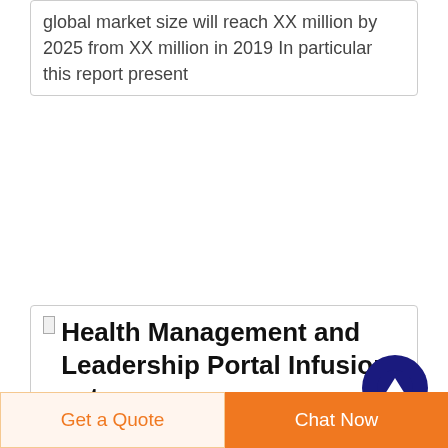global market size will reach XX million by 2025 from XX million in 2019 In particular this report present
Health Management and Leadership Portal Infusion set
Description Sterile Simple PVC tube with Luer Lock connections for the handling and administration of liquids Features Male Male or Male Luer Lock connections
[Figure (other): Scroll to top button — dark navy blue circle with white upward arrow]
Get a Quote
Chat Now